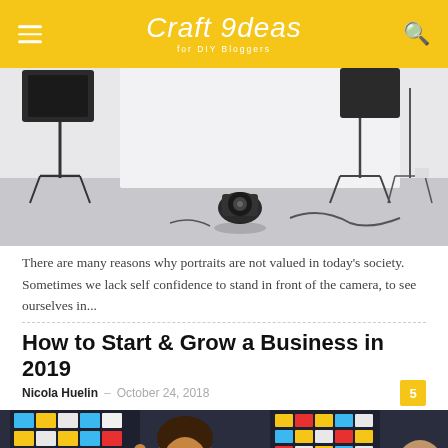Craft Ideas for DIY Bloggers
[Figure (photo): Photography studio with lighting equipment and camera on floor]
There are many reasons why portraits are not valued in today’s society.  Sometimes we lack self confidence to stand in front of the camera, to see ourselves in...
How to Start & Grow a Business in 2019
Nicola Huelin –  October 24, 2018
[Figure (photo): Business presentation with woman smiling in front of colorful sticky note boards]